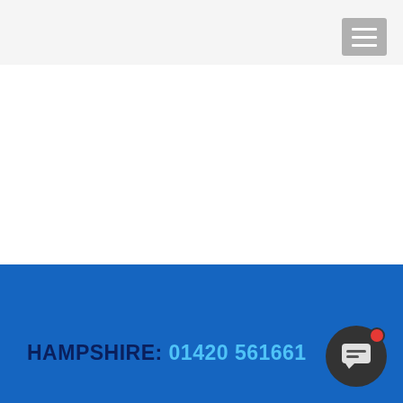[Figure (screenshot): Website header bar with grey background and hamburger menu button in top right corner]
[Figure (illustration): Faded background icons/logos in the main white content area]
HAMPSHIRE: 01420 561661
[Figure (illustration): Chat bubble widget with red notification dot in bottom right corner]